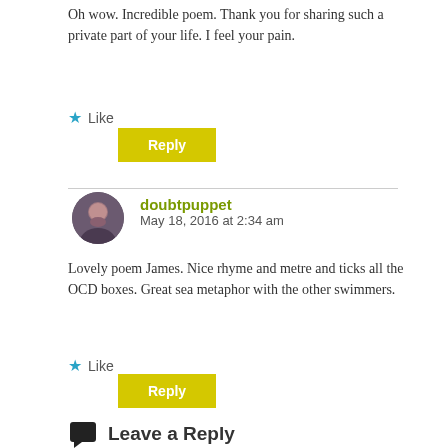Oh wow. Incredible poem. Thank you for sharing such a private part of your life. I feel your pain.
★ Like
Reply
doubtpuppet
May 18, 2016 at 2:34 am
Lovely poem James. Nice rhyme and metre and ticks all the OCD boxes. Great sea metaphor with the other swimmers.
★ Like
Reply
Leave a Reply